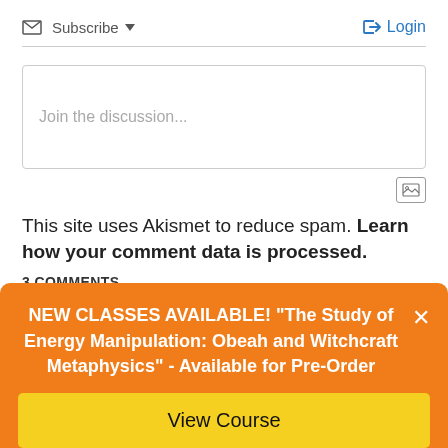Subscribe  Login
Join the discussion...
This site uses Akismet to reduce spam. Learn how your comment data is processed.
3 COMMENTS
NEW CLASSES AVAILABLE! "The Study of Energy Manipulation: Obeah and Witchcraft Metaphysics" - Available for Pre-Order
View Course